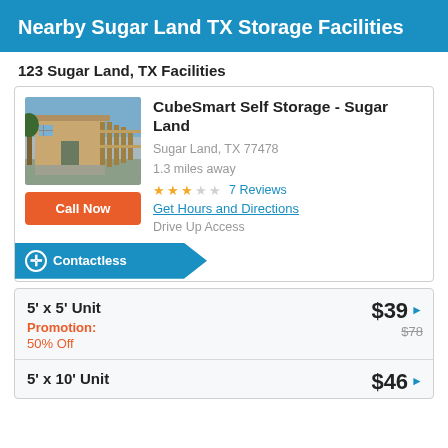Nearby Sugar Land TX Storage Facilities
123 Sugar Land, TX Facilities
CubeSmart Self Storage - Sugar Land
Sugar Land, TX 77478
1.3 miles away
★★★☆☆  7 Reviews
Get Hours and Directions
Drive Up Access
Contactless
| Unit | Price |
| --- | --- |
| 5' x 5' Unit  Promotion: 50% Off | $39 ($78 regular) |
| 5' x 10' Unit | $46 |